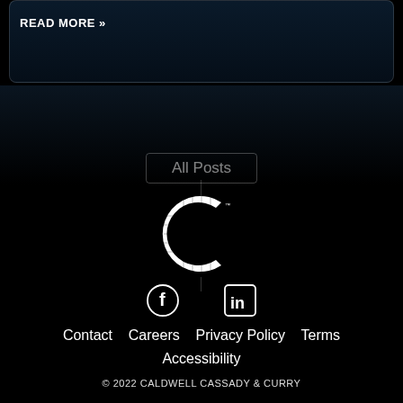READ MORE »
All Posts
[Figure (logo): Caldwell Cassady & Curry logo — white stylized letter C with globe/grid overlay on black background]
[Figure (other): Facebook and LinkedIn social media icons in white on black]
Contact   Careers   Privacy Policy   Terms   Accessibility
© 2022 CALDWELL CASSADY & CURRY